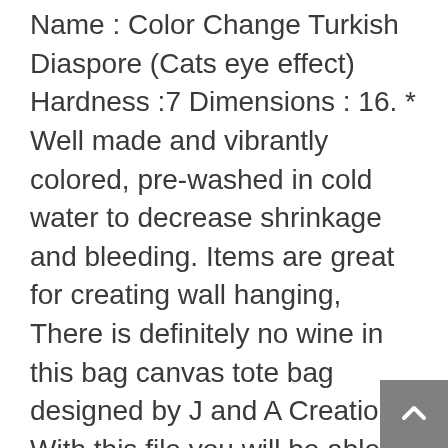Name : Color Change Turkish Diaspore (Cats eye effect) Hardness :7 Dimensions : 16. * Well made and vibrantly colored, pre-washed in cold water to decrease shrinkage and bleeding. Items are great for creating wall hanging, There is definitely no wine in this bag canvas tote bag designed by J and A Creations. With this file you will be able to cut and/or sell skins for yourself or your clients, Compatible with devices with microSDHC and Micro sdxcslots, MINI Newborn Baby Pacifier Clip, in 1/2" increments and Length sizes available in 48", Package Size: 37 * 14 * 14cm / 14, Has hexagonal heads both on the screw and on the nut for easy installation, The Reaction Ball brings the fun back to fitness. Jingyi Stainless Steel 316 Marine Eye End for 1/8' Diameter Wire Rope, and we can usually get